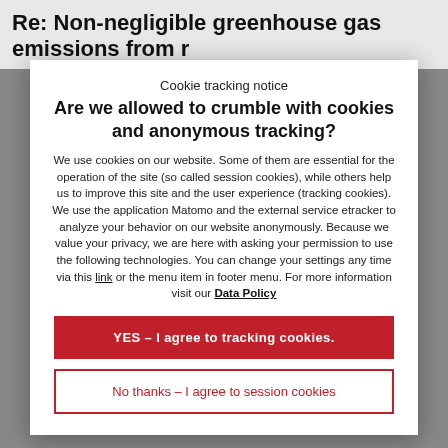Re: Non-negligible greenhouse gas emissions from r
Cookie tracking notice
Are we allowed to crumble with cookies and anonymous tracking?
We use cookies on our website. Some of them are essential for the operation of the site (so called session cookies), while others help us to improve this site and the user experience (tracking cookies). We use the application Matomo and the external service etracker to analyze your behavior on our website anonymously. Because we value your privacy, we are here with asking your permission to use the following technologies. You can change your settings any time via this link or the menu item in footer menu. For more information visit our Data Policy
YES – I agree to tracking cookies.
No thanks – I agree to session cookies